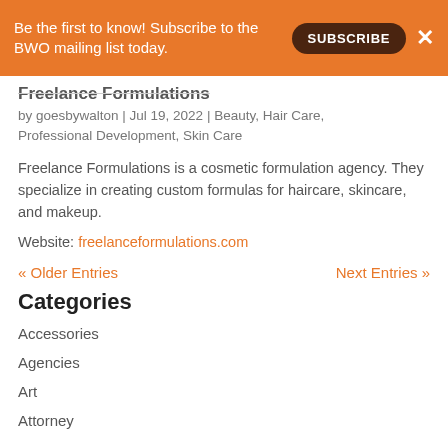Be the first to know! Subscribe to the BWO mailing list today.
Freelance Formulations
by goesbywalton | Jul 19, 2022 | Beauty, Hair Care, Professional Development, Skin Care
Freelance Formulations is a cosmetic formulation agency. They specialize in creating custom formulas for haircare, skincare, and makeup.
Website: freelanceformulations.com
« Older Entries    Next Entries »
Categories
Accessories
Agencies
Art
Attorney